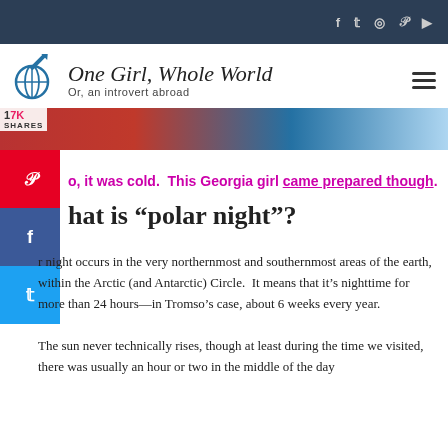One Girl, Whole World — Or, an introvert abroad — social nav header
[Figure (illustration): Hero image of person in red jacket, partially cropped, with social share sidebar buttons (Pinterest red, Facebook blue, Twitter blue) and share count '17K SHARES']
o, it was cold.  This Georgia girl came prepared though.
What is "polar night"?
r night occurs in the very northernmost and southernmost areas of the earth, within the Arctic (and Antarctic) Circle.  It means that it's nighttime for more than 24 hours—in Tromso's case, about 6 weeks every year.

The sun never technically rises, though at least during the time we visited, there was usually an hour or two in the middle of the day